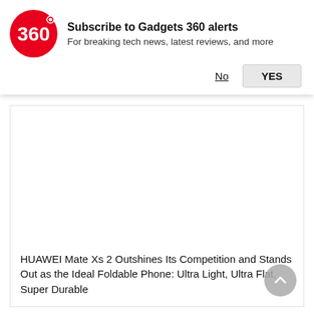[Figure (logo): Gadgets 360 red circular logo with '360' text in white]
Subscribe to Gadgets 360 alerts
For breaking tech news, latest reviews, and more
No   YES
[Figure (photo): Article image area (white/blank)]
HUAWEI Mate Xs 2 Outshines Its Competition and Stands Out as the Ideal Foldable Phone: Ultra Light, Ultra Flat, Super Durable